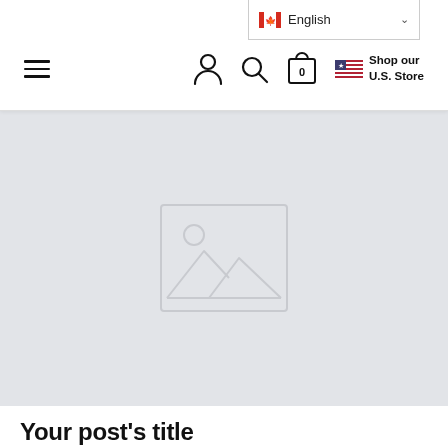English — Shop our U.S. Store (navigation header with hamburger menu, user icon, search icon, cart icon)
[Figure (screenshot): Gray placeholder image area with a centered image placeholder icon (mountain/landscape outline)]
Your post's title